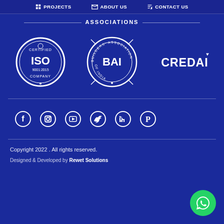PROJECTS | ABOUT US | CONTACT US
ASSOCIATIONS
[Figure (logo): ISO 9001:2015 Certified Company circular logo in white on blue]
[Figure (logo): BAI Builders Association of India circular logo in white on blue]
[Figure (logo): CREDAI logo in white text on blue background]
[Figure (infographic): Social media icons: Facebook, Instagram, YouTube, Twitter, LinkedIn, Pinterest]
Copyright 2022 . All rights reserved.
Designed & Developed by Rewet Solutions